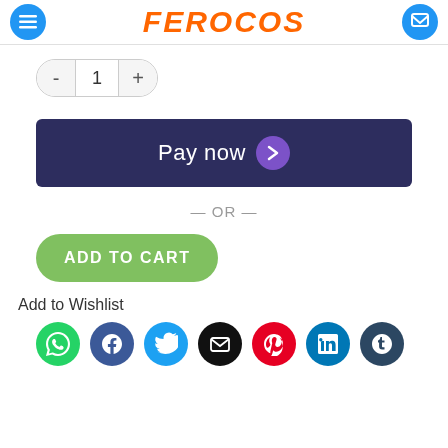[Figure (screenshot): E-commerce product page screenshot showing header with logo, quantity selector, Pay now button, OR divider, Add to Cart button, Add to Wishlist label, and social sharing icons]
- 1 +
Pay now
— OR —
ADD TO CART
Add to Wishlist